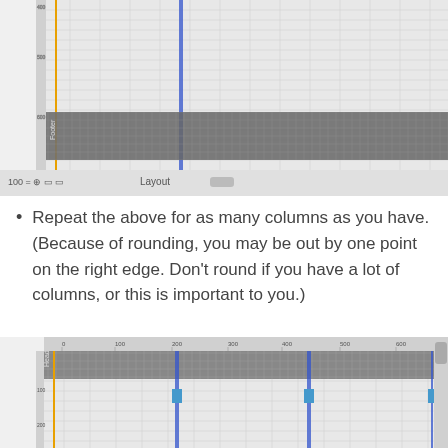[Figure (screenshot): Screenshot of a layout editor showing ruler at top, a Footer band highlighted in dark grey/blue across the bottom portion of the visible canvas, zoom controls and 'Layout' tab at bottom.]
Repeat the above for as many columns as you have. (Because of rounding, you may be out by one point on the right edge. Don’t round if you have a lot of columns, or this is important to you.)
[Figure (screenshot): Screenshot of a layout editor showing ruler at top with markers at 0, 100, 200, 300, 400, 500, 600, a Header band in grey across the top, vertical blue guide lines at approximately 200, 400, and 600, and small blue rectangle handles at those column positions around y=100.]